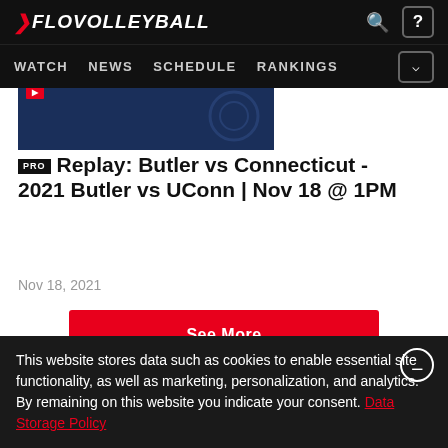FLOVOLLEYBALL — WATCH NEWS SCHEDULE RANKINGS
[Figure (screenshot): Partial thumbnail of a volleyball video with dark blue background and red PRO badge]
PRO Replay: Butler vs Connecticut - 2021 Butler vs UConn | Nov 18 @ 1PM
Nov 18, 2021
See More
This website stores data such as cookies to enable essential site functionality, as well as marketing, personalization, and analytics. By remaining on this website you indicate your consent. Data Storage Policy